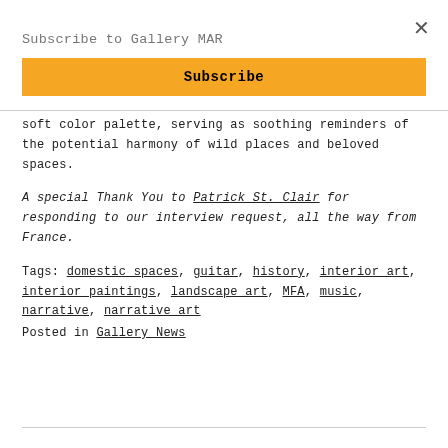Subscribe to Gallery MAR
Subscribe
soft color palette, serving as soothing reminders of the potential harmony of wild places and beloved spaces.
A special Thank You to Patrick St. Clair for responding to our interview request, all the way from France.
Tags: domestic spaces, guitar, history, interior art, interior paintings, landscape art, MFA, music, narrative, narrative art
Posted in Gallery News